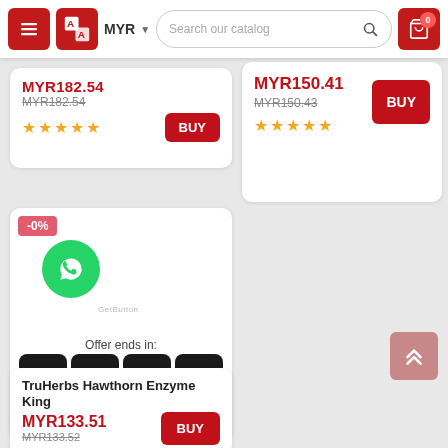MYR | Search our catalog | Cart (0)
MYR182.54 (strikethrough) | BUY | ★★★★★
MYR150.41 | MYR150.43 (strikethrough) | BUY | ★★★★★
[Figure (other): Product card with -0% discount badge and countdown timer: 08 days, 00 hours, 04 min, 12 sec. Offer ends in:]
TruHerbs Hawthorn Enzyme King
MYR133.51 | MYR133.52 (strikethrough) | BUY